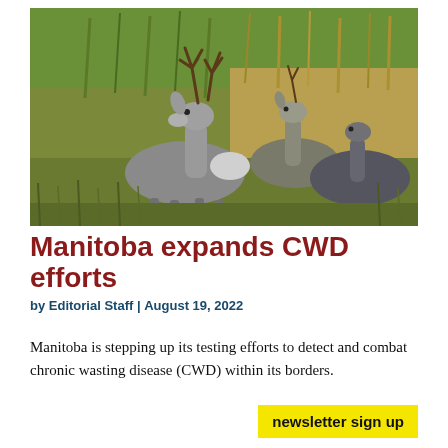[Figure (photo): Three deer/elk standing in a grassy field with tall golden and green grass in the background. A large buck with antlers is prominent on the left.]
Manitoba expands CWD efforts
by Editorial Staff | August 19, 2022
Manitoba is stepping up its testing efforts to detect and combat chronic wasting disease (CWD) within its borders.
newsletter sign up